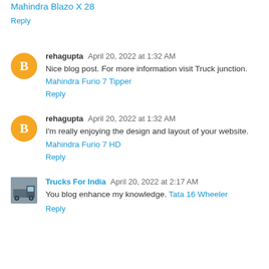sharing your thoughts with us. Please check out
Mahindra Blazo X 28
Reply
rehagupta  April 20, 2022 at 1:32 AM
Nice blog post. For more information visit Truck junction.
Mahindra Furio 7 Tipper
Reply
rehagupta  April 20, 2022 at 1:32 AM
I'm really enjoying the design and layout of your website.
Mahindra Furio 7 HD
Reply
Trucks For India  April 20, 2022 at 2:17 AM
You blog enhance my knowledge. Tata 16 Wheeler
Reply